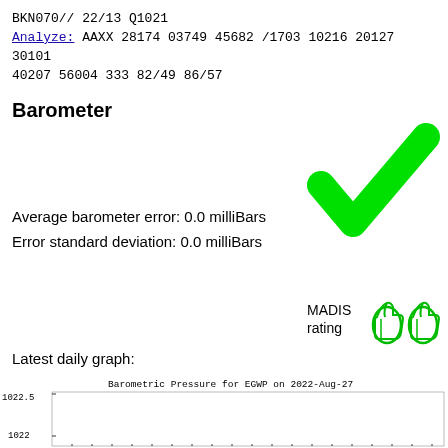BKN070// 22/13 Q1021
Analyze: AAXX 28174 03749 45682 /1703 10216 20127 30101
40207 56004 333 82/49 86/57
Barometer
[Figure (illustration): Large green checkmark icon]
Average barometer error: 0.0 milliBars
Error standard deviation: 0.0 milliBars
[Figure (illustration): MADIS rating with two green thumbs-up icons]
Latest daily graph:
[Figure (continuous-plot): Barometric Pressure for EGWP on 2022-Aug-27, showing pressure values around 1022-1022.5 millibars]